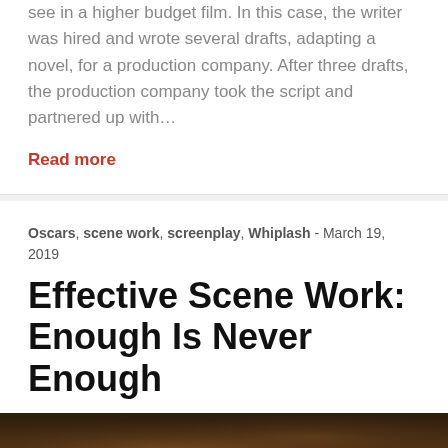see in a higher budget film. In this case, the writer was hired and wrote several drafts, adapting a novel, for a production company. After three drafts, the production company took the script and partnered up with…
Read more
Oscars, scene work, screenplay, Whiplash - March 19, 2019
Effective Scene Work: Enough Is Never Enough
[Figure (photo): Dark-toned photo strip showing a close-up of a person's face, dimly lit with warm brown tones]